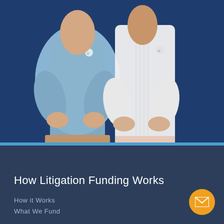[Figure (photo): Two people (a man in a light blue shirt and a woman in a white blouse) standing with arms crossed against a dark blue background, both wearing company logo shirts]
How Litigation Funding Works
How it Works
What We Fund